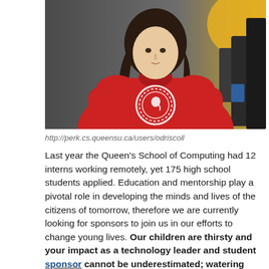[Figure (photo): A student wearing a red Queen's University hoodie with a white horse logo on the chest, standing in front of what appears to be a workshop or lab setting with yellow and metal equipment in the background.]
http://perk.cs.queensu.ca/users/odriscoll
Last year the Queen's School of Computing had 12 interns working remotely, yet 175 high school students applied. Education and mentorship play a pivotal role in developing the minds and lives of the citizens of tomorrow, therefore we are currently looking for sponsors to join us in our efforts to change young lives. Our children are thirsty and your impact as a technology leader and student sponsor cannot be underestimated; watering small seeds is how beautiful forests grow. Significant people and experiences provide students like Olivia with a belief in